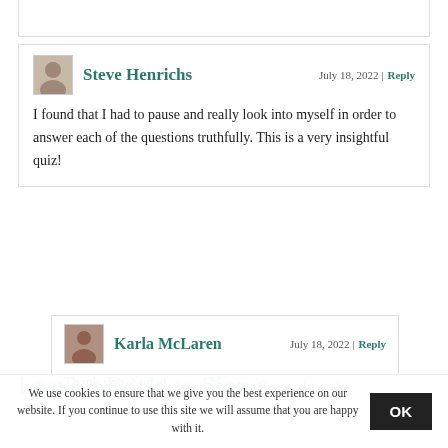Steve Henrichs
July 18, 2022 | Reply
I found that I had to pause and really look into myself in order to answer each of the questions truthfully. This is a very insightful quiz!
Karla McLaren
July 18, 2022 | Reply
Thank you, Steve!
Leave a Reply to Sian Cancel reply
We use cookies to ensure that we give you the best experience on our website. If you continue to use this site we will assume that you are happy with it.